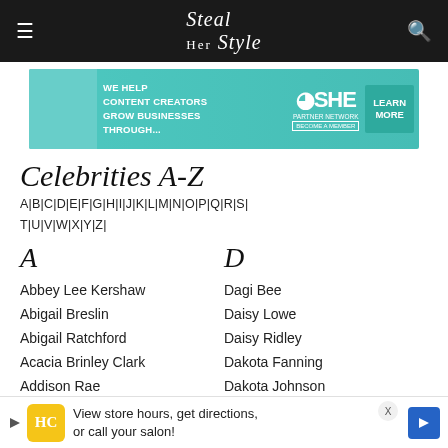Steal Her Style
[Figure (infographic): Teal advertisement banner: WE HELP CONTENT CREATORS GROW BUSINESSES THROUGH... SHE PARTNER NETWORK BECOME A MEMBER LEARN MORE]
Celebrities A-Z
A|B|C|D|E|F|G|H|I|J|K|L|M|N|O|P|Q|R|S|T|U|V|W|X|Y|Z|
A
Abbey Lee Kershaw
Abigail Breslin
Abigail Ratchford
Acacia Brinley Clark
Addison Rae
Addison Timlin
Adele
Adriana Lima
Adrianne Palicki
Adrienne Bailon
D
Dagi Bee
Daisy Lowe
Daisy Ridley
Dakota Fanning
Dakota Johnson
Dani Artaud
Dani Thorne
Dania Ramirez
Daniella Monet
Daniella Pineda
[Figure (infographic): Bottom ad banner: HC logo, View store hours, get directions, or call your salon! Blue arrow icon. X close button.]